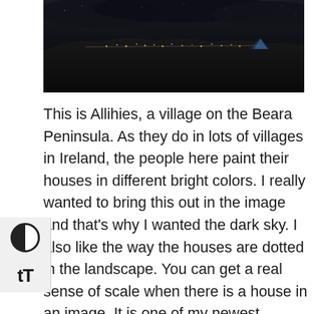[Figure (photo): A dark panoramic nighttime photograph of Allihies village on the Beara Peninsula, showing distant lights of houses scattered across a dark landscape under a very dark sky.]
This is Allihies, a village on the Beara Peninsula. As they do in lots of villages in Ireland, the people here paint their houses in different bright colors. I really wanted to bring this out in the image and that's why I wanted the dark sky. I also like the way the houses are dotted in the landscape. You can get a real sense of scale when there is a house in an image. It is one of my newest images and it was in the planning stages for over a year before all the variables came together to create the perfect scene for me. It is a strangely colorful place